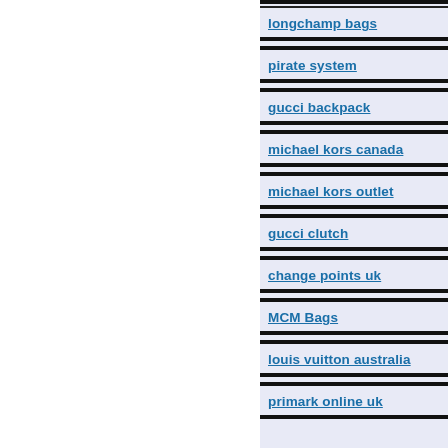longchamp bags
pirate system
gucci backpack
michael kors canada
michael kors outlet
gucci clutch
change points uk
MCM Bags
louis vuitton australia
primark online uk